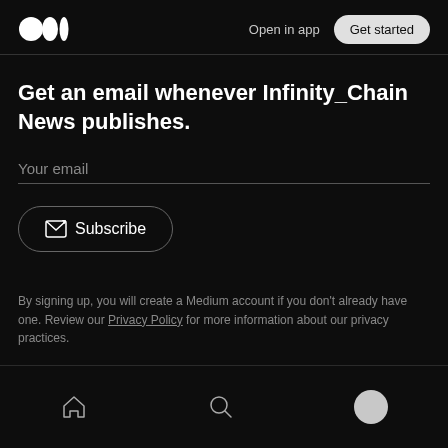Open in app   Get started
Get an email whenever Infinity_Chain News publishes.
Your email
Subscribe
By signing up, you will create a Medium account if you don't already have one. Review our Privacy Policy for more information about our privacy practices.